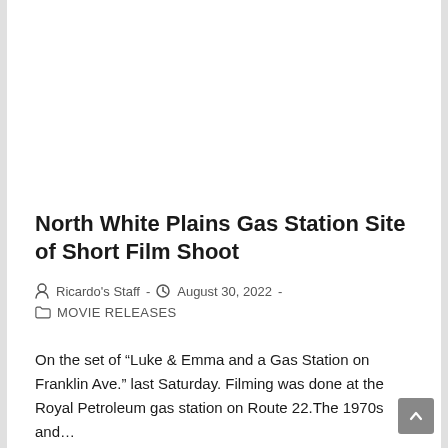North White Plains Gas Station Site of Short Film Shoot
Ricardo's Staff  -  August 30, 2022  -  MOVIE RELEASES
On the set of “Luke & Emma and a Gas Station on Franklin Ave.” last Saturday. Filming was done at the Royal Petroleum gas station on Route 22.The 1970s and…